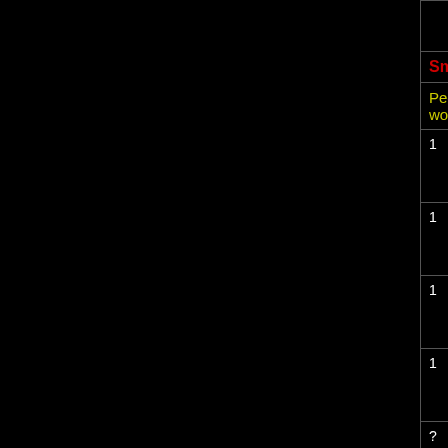| Lvl Req | Rec Lvl | Enemy Name | Skill EXP | Level EXP |
| --- | --- | --- | --- | --- |
| Small animal invasion |  |  |  |  |
| People at Droesar have started reporting odd things... |  |  |  |  |
| 1 | 1 | Chicken | EXP 3 | EXP 1 |
| 1 | 1 | Bunny | EXP 4 | EXP 1 |
| 1 | 1 | Squirrel | EXP 5 | EXP 1 |
| 1 | 1 | Fairy | EXP 8 | EXP 2 |
| ? | ? | Raccoon | EXP 10 | EXP 5 |
| Amphibian invasion |  |  |  |  |
| The people at Lake Essdar report that their houses... |  |  |  |  |
| ? | ? | Frog | EXP 13 | EXP 7 |
| ? | ? | Brown Toad | EXP 25 | EXP |